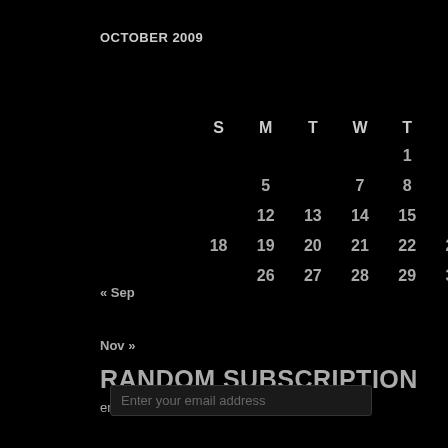OCTOBER 2009
| S | M | T | W | T | F | S |
| --- | --- | --- | --- | --- | --- | --- |
|  |  |  |  | 1 | 2 |  |
|  | 5 |  | 7 | 8 | 9 |  |
|  | 12 | 13 | 14 | 15 |  |  |
| 18 | 19 | 20 | 21 | 22 | 23 |  |
|  | 26 | 27 | 28 | 29 | 30 |  |
« Sep
Nov »
RANDOM SUBSCRIPTION
enter your email address for randomness
Enter your email address